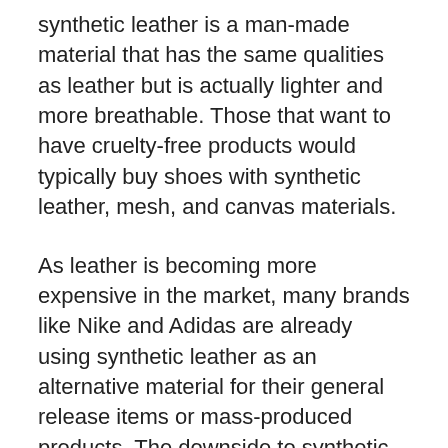synthetic leather is a man-made material that has the same qualities as leather but is actually lighter and more breathable. Those that want to have cruelty-free products would typically buy shoes with synthetic leather, mesh, and canvas materials.
As leather is becoming more expensive in the market, many brands like Nike and Adidas are already using synthetic leather as an alternative material for their general release items or mass-produced products. The downside to synthetic leather is that it is not as durable as leather, but if you regularly replace your shoes after years of use, this wouldn't really be a drawback for you.
And there you go, the popular and common